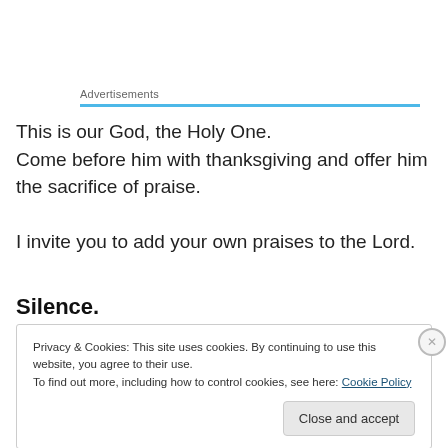Advertisements
This is our God, the Holy One.
Come before him with thanksgiving and offer him the sacrifice of praise.

I invite you to add your own praises to the Lord.
Silence.
Privacy & Cookies: This site uses cookies. By continuing to use this website, you agree to their use.
To find out more, including how to control cookies, see here: Cookie Policy
Close and accept